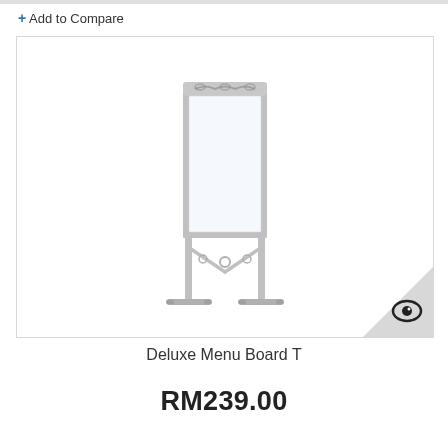+ Add to Compare
[Figure (photo): Product photo of a Deluxe Menu Board T — a freestanding whiteboard display with a silver/grey metal frame, decorative scrollwork at the top, cross-brace support in the lower middle, and T-shaped feet at the base. The board surface is white/light.]
Deluxe Menu Board T
RM239.00